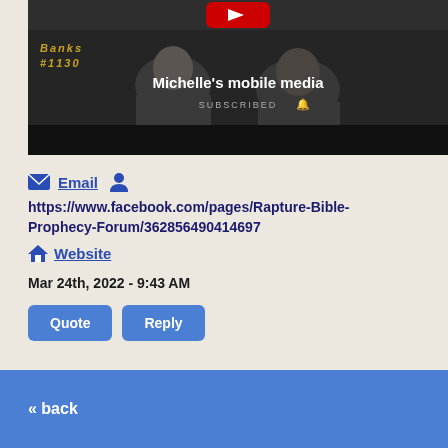[Figure (screenshot): YouTube channel screenshot showing two police officers in dark uniforms, with text 'Banks #1130' in yellow italic bold on the left, channel name 'Michelle's mobile media' in white center, and 'SUBSCRIBED' text below]
✉ Email  👤
https://www.facebook.com/pages/Rapture-Bible-Prophecy-Forum/362856490414697  🏠 Website
Mar 24th, 2022 - 9:43 AM
Quote  Reply
« back